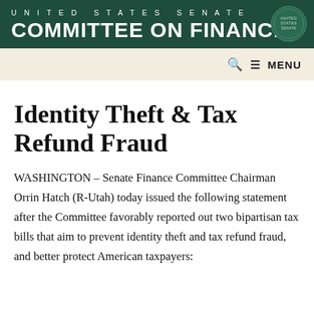UNITED STATES SENATE COMMITTEE ON FINANCE
Identity Theft & Tax Refund Fraud
WASHINGTON – Senate Finance Committee Chairman Orrin Hatch (R-Utah) today issued the following statement after the Committee favorably reported out two bipartisan tax bills that aim to prevent identity theft and tax refund fraud, and better protect American taxpayers: